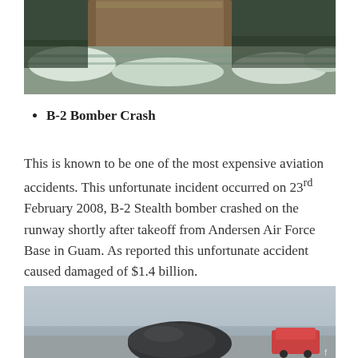[Figure (photo): Aerial or close-up photo showing wreckage/debris with snow and dark structural elements]
B-2 Bomber Crash
This is known to be one of the most expensive aviation accidents. This unfortunate incident occurred on 23rd February 2008, B-2 Stealth bomber crashed on the runway shortly after takeoff from Andersen Air Force Base in Guam. As reported this unfortunate accident caused damaged of $1.4 billion.
[Figure (photo): Photo of aircraft wreckage or debris on a runway, showing a dark rounded object and red vehicle in background]